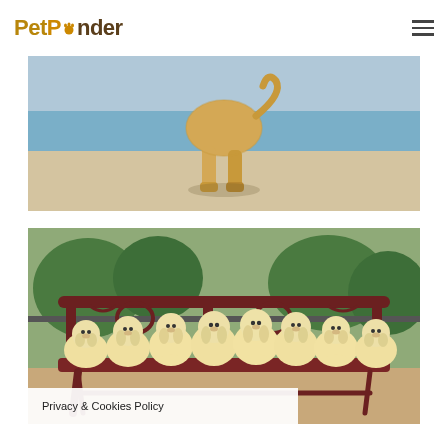PetPonder
[Figure (photo): A golden retriever dog walking on sandy beach, viewed from behind, showing hindquarters and legs on sand with water in background]
[Figure (photo): Eight golden retriever puppies sitting in a row on a dark red/maroon ornate metal park bench, outdoors with trees and fence in background]
Privacy & Cookies Policy